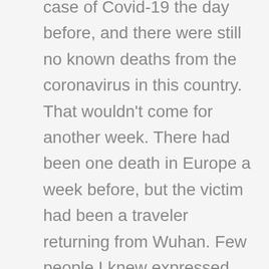case of Covid-19 the day before, and there were still no known deaths from the coronavirus in this country. That wouldn't come for another week. There had been one death in Europe a week before, but the victim had been a traveler returning from Wuhan. Few people I knew expressed more than mild concern about what was still perceived as a Chinese problem.
However, in my piece, I warned that global supply chains would be disrupted, that economies would be put under enormous stress, and that every business